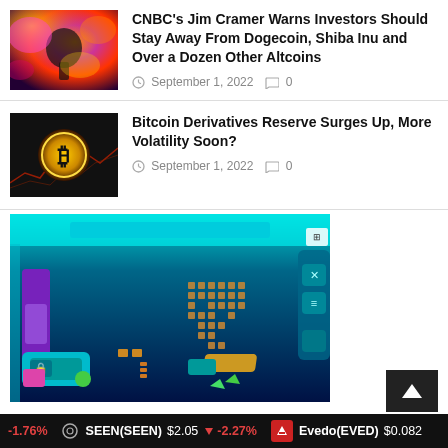[Figure (photo): Colorful psychedelic/abstract image with dark silhouette figure, pink, orange, yellow tones]
CNBC's Jim Cramer Warns Investors Should Stay Away From Dogecoin, Shiba Inu and Over a Dozen Other Altcoins
September 1, 2022  0
[Figure (photo): Bitcoin gold coin on dark background with red chart lines]
Bitcoin Derivatives Reserve Surges Up, More Volatility Soon?
September 1, 2022  0
[Figure (screenshot): Dark blue isometric game or tech interface screenshot with teal, purple, orange elements]
-1.76%  SEEN(SEEN)  $2.05  ↓ -2.27%  Evedo(EVED)  $0.082